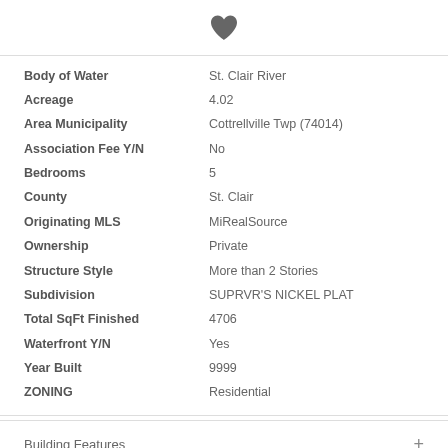[Figure (illustration): Dark gray heart icon centered at top of page]
| Field | Value |
| --- | --- |
| Body of Water | St. Clair River |
| Acreage | 4.02 |
| Area Municipality | Cottrellville Twp (74014) |
| Association Fee Y/N | No |
| Bedrooms | 5 |
| County | St. Clair |
| Originating MLS | MiRealSource |
| Ownership | Private |
| Structure Style | More than 2 Stories |
| Subdivision | SUPRVR'S NICKEL PLAT |
| Total SqFt Finished | 4706 |
| Waterfront Y/N | Yes |
| Year Built | 9999 |
| ZONING | Residential |
Building Features